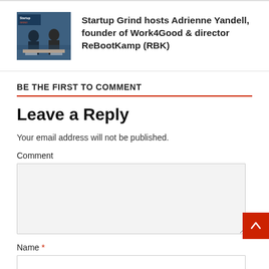[Figure (photo): Photo of Startup Grind event — two people seated on stage in conversation, with Startup Grind branding visible in background]
Startup Grind hosts Adrienne Yandell, founder of Work4Good & director ReBootKamp (RBK)
BE THE FIRST TO COMMENT
Leave a Reply
Your email address will not be published.
Comment
Name *